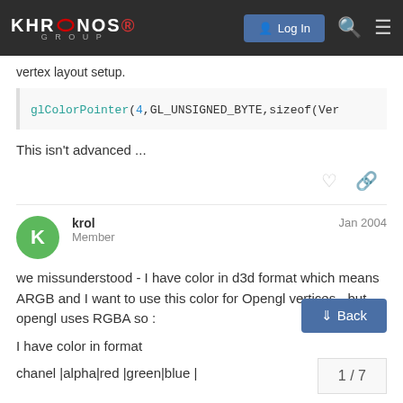KHRONOS GROUP — Log In
vertex layout setup.
glColorPointer(4,GL_UNSIGNED_BYTE,sizeof(Ver
This isn't advanced ...
krol   Member   Jan 2004
we missunderstood - I have color in d3d format which means ARGB and I want to use this color for Opengl vertices - but opengl uses RGBA so :
I have color in format
chanel |alpha|red |green|blue |